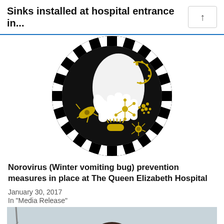Sinks installed at hospital entrance in...
[Figure (illustration): Circular black illustration showing a white hand outline with yellow/gold microorganism and virus illustrations (bacteria, viruses, germs) on a black background, with bold black and white striped border pattern]
Norovirus (Winter vomiting bug) prevention measures in place at The Queen Elizabeth Hospital
January 30, 2017
In "Media Release"
[Figure (photo): Photograph of a middle-aged woman with dark hair wearing a dark navy/blue uniform top, standing outdoors in front of a hospital building with beige/yellow walls and windows visible in background]